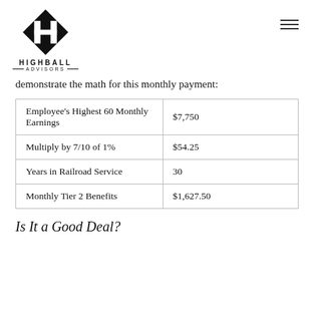HIGHBALL ADVISORS
demonstrate the math for this monthly payment:
| Employee's Highest 60 Monthly Earnings | $7,750 |
| Multiply by 7/10 of 1% | $54.25 |
| Years in Railroad Service | 30 |
| Monthly Tier 2 Benefits | $1,627.50 |
Is It a Good Deal?